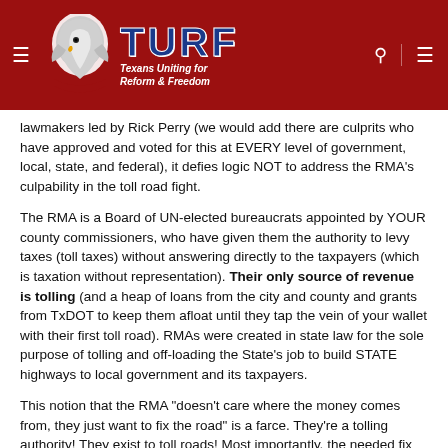TURF - Texans Uniting for Reform & Freedom
lawmakers led by Rick Perry (we would add there are culprits who have approved and voted for this at EVERY level of government, local, state, and federal), it defies logic NOT to address the RMA's culpability in the toll road fight.
The RMA is a Board of UN-elected bureaucrats appointed by YOUR county commissioners, who have given them the authority to levy taxes (toll taxes) without answering directly to the taxpayers (which is taxation without representation). Their only source of revenue is tolling (and a heap of loans from the city and county and grants from TxDOT to keep them afloat until they tap the vein of your wallet with their first toll road). RMAs were created in state law for the sole purpose of tolling and off-loading the State's job to build STATE highways to local government and its taxpayers.
This notion that the RMA "doesn't care where the money comes from, they just want to fix the road" is a farce. They're a tolling authority! They exist to toll roads! Most importantly, the needed fix